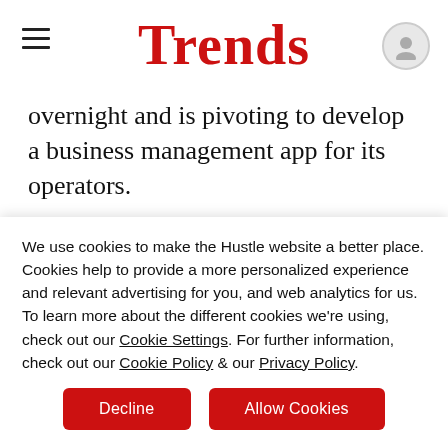Trends
overnight and is pivoting to develop a business management app for its operators.
10 Minute Read
* * *
A Reusable Backpack Startup Pivots to Wi...
We use cookies to make the Hustle website a better place. Cookies help to provide a more personalized experience and relevant advertising for you, and web analytics for us. To learn more about the different cookies we're using, check out our Cookie Settings. For further information, check out our Cookie Policy & our Privacy Policy.